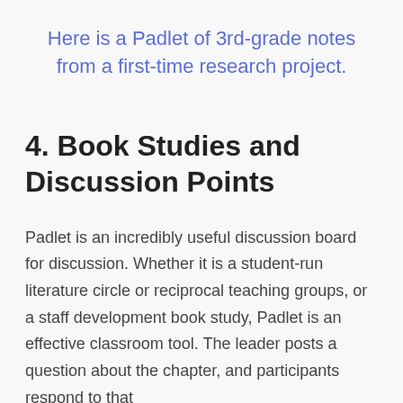Here is a Padlet of 3rd-grade notes from a first-time research project.
4. Book Studies and Discussion Points
Padlet is an incredibly useful discussion board for discussion. Whether it is a student-run literature circle or reciprocal teaching groups, or a staff development book study, Padlet is an effective classroom tool. The leader posts a question about the chapter, and participants respond to that